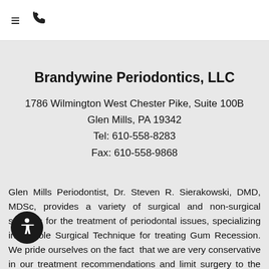☰ ☎
Brandywine Periodontics, LLC
1786 Wilmington West Chester Pike, Suite 100B
Glen Mills, PA 19342
Tel: 610-558-8283
Fax: 610-558-9868
Glen Mills Periodontist, Dr. Steven R. Sierakowski, DMD, MDSc, provides a variety of surgical and non-surgical services for the treatment of periodontal issues, specializing in Pinhole Surgical Technique for treating Gum Recession. We pride ourselves on the fact that we are very conservative in our treatment recommendations and limit surgery to the areas where it is